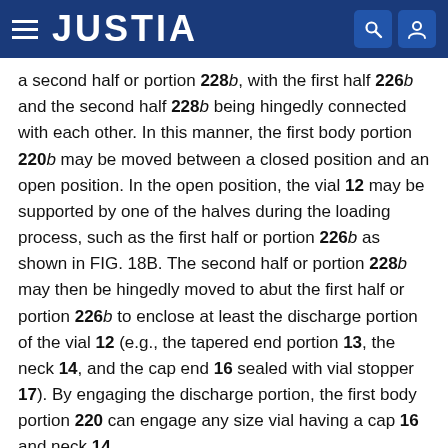JUSTIA
a second half or portion 228b, with the first half 226b and the second half 228b being hingedly connected with each other. In this manner, the first body portion 220b may be moved between a closed position and an open position. In the open position, the vial 12 may be supported by one of the halves during the loading process, such as the first half or portion 226b as shown in FIG. 18B. The second half or portion 228b may then be hingedly moved to abut the first half or portion 226b to enclose at least the discharge portion of the vial 12 (e.g., the tapered end portion 13, the neck 14, and the cap end 16 sealed with vial stopper 17). By engaging the discharge portion, the first body portion 220 can engage any size vial having a cap 16 and neck 14.
The first body portion 220b further defines an interior cavity 222b which accommodates the cap end 16